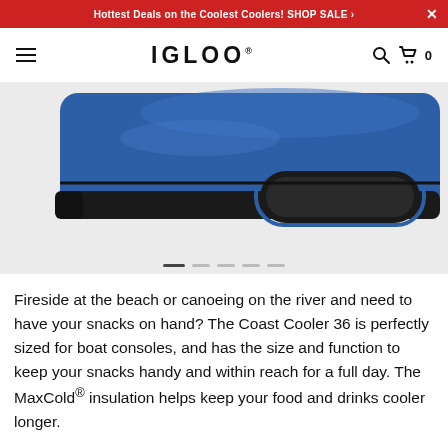Hottest Deals on the Coolest Coolers! SHOP SALE ›
[Figure (screenshot): Igloo website navigation bar with hamburger menu, IGLOO logo, search icon, and cart icon with 0 items]
[Figure (photo): Close-up of bottom of a blue Igloo Coast Cooler 36 showing black strap handle and blue trim on a light gray background]
Fireside at the beach or canoeing on the river and need to have your snacks on hand? The Coast Cooler 36 is perfectly sized for boat consoles, and has the size and function to keep your snacks handy and within reach for a full day. The MaxCold® insulation helps keep your food and drinks cooler longer.